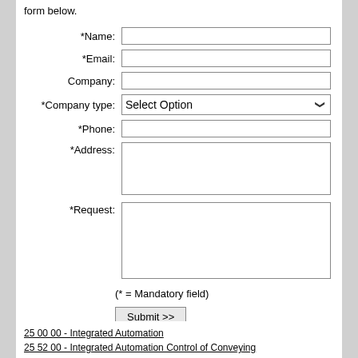form below.
*Name: [input] *Email: [input] Company: [input] *Company type: Select Option *Phone: [input] *Address: [textarea] *Request: [textarea]
(* = Mandatory field)
Submit >>
25 00 00 - Integrated Automation
25 52 00 - Integrated Automation Control of Conveying Equipment